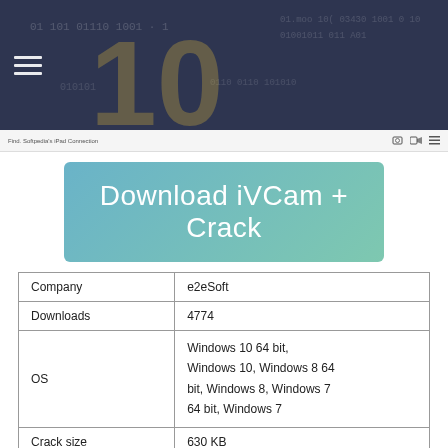[Figure (screenshot): Banner image with blurred number/binary code background and hamburger menu icon in top-left]
[Figure (screenshot): Browser toolbar with tab text 'Find. Softpedia's iPad Connection' and icons on the right (camera, video, menu)]
[Figure (infographic): Teal/turquoise gradient button with text 'Download iVCam + Crack']
| Company | e2eSoft |
| --- | --- |
| Downloads | 4774 |
| OS | Windows 10 64 bit, Windows 10, Windows 8 64 bit, Windows 8, Windows 7 64 bit, Windows 7 |
| Crack size | 630 KB |
| Rating | 3.6 |
If you have an older or cheaper webcam, the image quality it